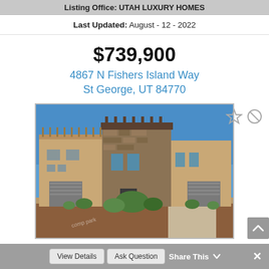Listing Office: UTAH LUXURY HOMES
Last Updated: August - 12 - 2022
$739,900
4867 N Fishers Island Way
St George, UT 84770
[Figure (photo): Exterior photo of a multi-story southwestern style townhome with stone and stucco facade, garage, desert landscaping with red rock gravel and shrubs, blue sky background.]
View Details   Ask Question   Share This   ×